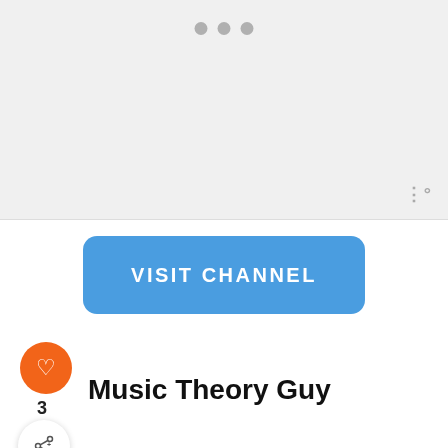[Figure (screenshot): Top gray panel with three dots indicating a media player or carousel at the top, with a wave/sound icon at bottom right]
[Figure (screenshot): Blue 'VISIT CHANNEL' button]
[Figure (screenshot): Orange heart/like icon button]
3
Music Theory Guy
[Figure (screenshot): Screenshot of Music Theory Guy YouTube channel page with green banner, orange circle thumbnail, subscriptions row, WHAT'S NEXT section showing 'The 6 Best Music Theor...' and a LOVE > HATE advertisement banner at bottom]